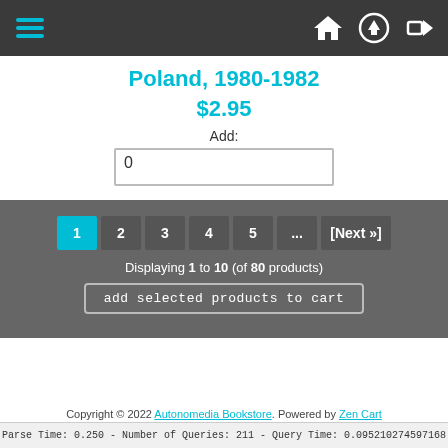[Figure (screenshot): Navigation bar with hamburger menu icon in cyan and three nav icons (home, upload, login) in white on dark background]
Poland, 1980-1982
$2.95
Add:
0
Displaying 1 to 10 (of 80 products)
add selected products to cart
Copyright © 2022 Autonomedia Bookstore. Powered by Zen Cart
Parse Time: 0.250 - Number of Queries: 211 - Query Time: 0.095210274597168